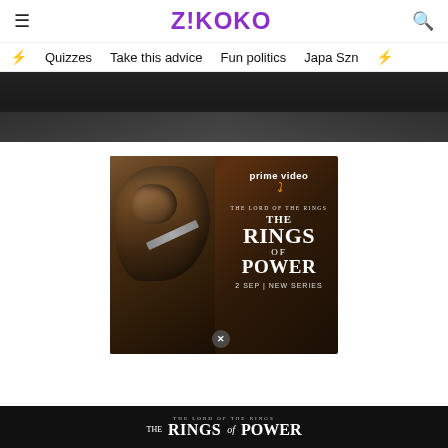Z!KOKO
Quizzes | Take this advice | Fun politics | Japa Szn
[Figure (photo): Dark stage/venue background strip image]
[Figure (photo): Amazon Prime Video advertisement for The Lord of the Rings: The Rings of Power. Shows a hooded warrior figure with the Prime Video logo and text 'THE LORD OF THE RINGS THE RINGS OF POWER 2 SEP | NEW SERIES']
[Figure (photo): Bottom advertisement strip for The Lord of the Rings: The Rings of Power on dark background]